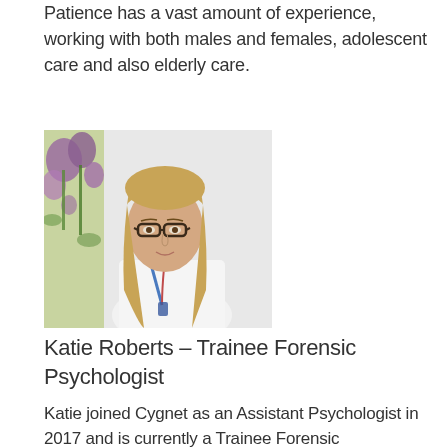Patience has a vast amount of experience, working with both males and females, adolescent care and also elderly care.
[Figure (photo): Professional headshot of Katie Roberts, a young woman with long blonde hair and glasses, wearing a white top and lanyard, posed in front of a floral background with purple flowers]
Katie Roberts – Trainee Forensic Psychologist
Katie joined Cygnet as an Assistant Psychologist in 2017 and is currently a Trainee Forensic Psychologist at Cygnet Raglan House, working towards qualification